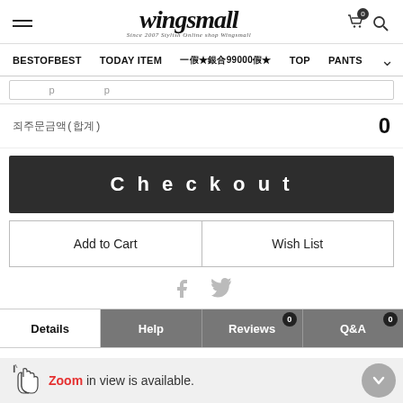wingsmall — stylish online shop
BESTOFBEST  TODAY ITEM  ★99000★  TOP  PANTS
총 주문금액(합계): 0
Checkout
Add to Cart
Wish List
Details  Help  Reviews (0)  Q&A (0)
Zoom in view is available.